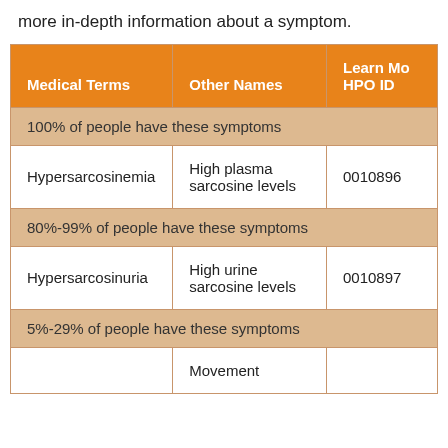more in-depth information about a symptom.
| Medical Terms | Other Names | Learn More HPO ID |
| --- | --- | --- |
| 100% of people have these symptoms |  |  |
| Hypersarcosinemia | High plasma sarcosine levels | 0010896 |
| 80%-99% of people have these symptoms |  |  |
| Hypersarcosinuria | High urine sarcosine levels | 0010897 |
| 5%-29% of people have these symptoms |  |  |
|  | Movement |  |